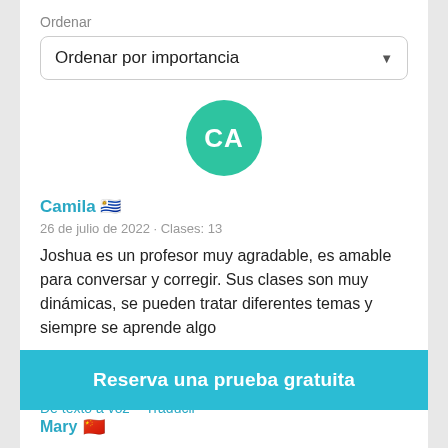Ordenar
Ordenar por importancia
[Figure (other): Green circle avatar with initials CA]
Camila 🇺🇾
26 de julio de 2022 · Clases: 13
Joshua es un profesor muy agradable, es amable para conversar y corregir. Sus clases son muy dinámicas, se pueden tratar diferentes temas y siempre se aprende algo
Leer más
De texto a voz  ·  Traducir
Reserva una prueba gratuita
Mary 🇨🇳